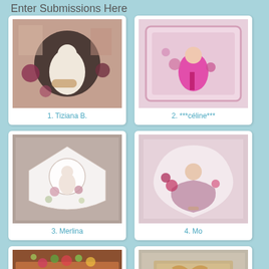Enter Submissions Here
[Figure (photo): Handmade decorative card with a girl in white dress, pink flowers and dark background with dots]
1. Tiziana B.
[Figure (photo): Handmade decorative card with a girl in pink outfit holding a lantern, ornate pink frame]
2. ***céline***
[Figure (photo): Handmade decorative heart-shaped card with a girl, lace and pink roses on wood background]
3. Merlina
[Figure (photo): Handmade decorative card with a girl in pink ball gown, flowers and lace]
4. Mo
[Figure (photo): Handmade decorative box/card with flowers and foliage on brown/orange base]
[Figure (photo): Handmade decorative card with floral design on gray/lavender background]